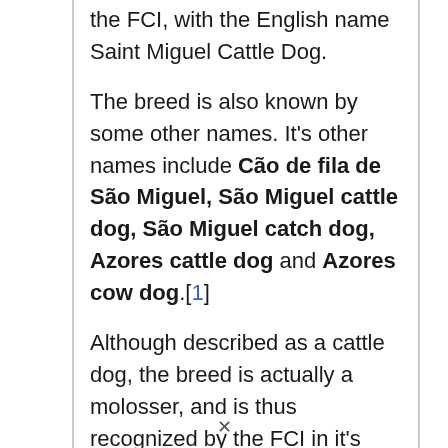the FCI, with the English name Saint Miguel Cattle Dog.
The breed is also known by some other names. It's other names include Cão de fila de São Miguel, São Miguel cattle dog, São Miguel catch dog, Azores cattle dog and Azores cow dog.[1]
Although described as a cattle dog, the breed is actually a molosser, and is thus recognized by the FCI in it's 'Group 2, Section 2, Molossoid breeds'